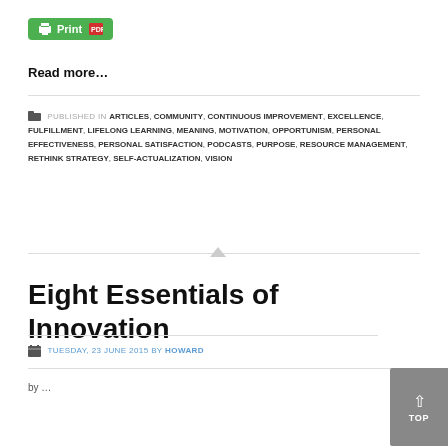[Figure (other): Print PDF button (green background with printer icon and red PDF icon)]
Read more...
PUBLISHED IN ARTICLES, COMMUNITY, CONTINUOUS IMPROVEMENT, EXCELLENCE, FULFILLMENT, LIFELONG LEARNING, MEANING, MOTIVATION, OPPORTUNISM, PERSONAL EFFECTIVENESS, PERSONAL SATISFACTION, PODCASTS, PURPOSE, RESOURCE MANAGEMENT, RETHINK STRATEGY, SELF-ACTUALIZATION, VISION
Eight Essentials of Innovation
TUESDAY, 23 JUNE 2015 BY HOWARD
by ...